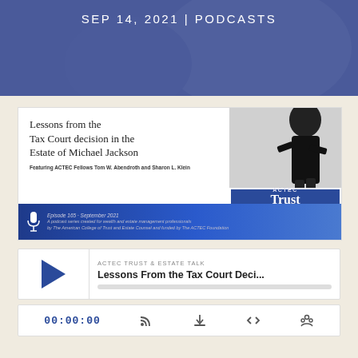SEP 14, 2021 | PODCASTS
[Figure (illustration): Podcast episode card for ACTEC Trust and Estate Talk, Episode 165 - September 2021. Title: Lessons from the Tax Court decision in the Estate of Michael Jackson. Featuring ACTEC Fellows Tom W. Abendroth and Sharon L. Klein. Shows a silhouette figure and ACTEC Trust and Estate Talk logo badge.]
[Figure (screenshot): Audio player widget showing ACTEC TRUST & ESTATE TALK episode titled 'Lessons From the Tax Court Deci...' with play button, progress bar, time display 00:00:00, and media controls including RSS, download, embed, and share icons.]